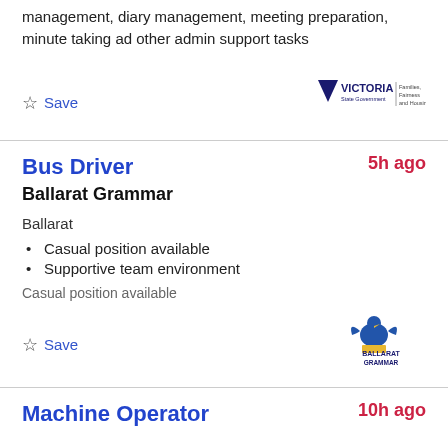management, diary management, meeting preparation, minute taking ad other admin support tasks
Save
[Figure (logo): Victoria State Government - Families, Fairness and Housing logo]
Bus Driver
5h ago
Ballarat Grammar
Ballarat
Casual position available
Supportive team environment
Casual position available
Save
[Figure (logo): Ballarat Grammar school logo with griffin and school name]
Machine Operator
10h ago